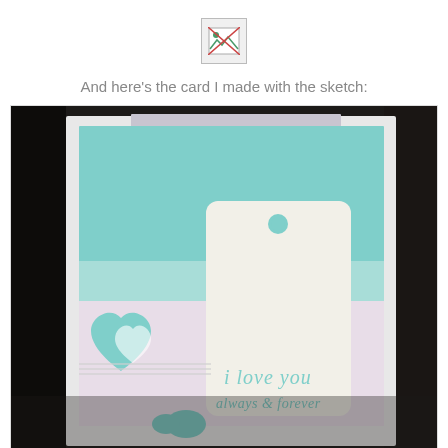[Figure (photo): Broken/missing image placeholder icon]
And here's the card I made with the sketch:
[Figure (photo): Close-up photograph of a handmade greeting card with a teal/mint color scheme, a white tag shape, heart embellishment, twine, and text reading 'i love you always & forever']